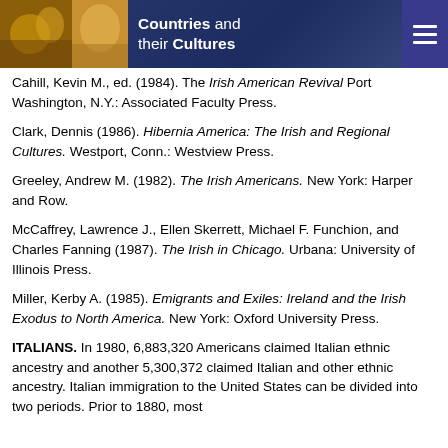Countries and their Cultures
Cahill, Kevin M., ed. (1984). The Irish American Revival Port Washington, N.Y.: Associated Faculty Press.
Clark, Dennis (1986). Hibernia America: The Irish and Regional Cultures. Westport, Conn.: Westview Press.
Greeley, Andrew M. (1982). The Irish Americans. New York: Harper and Row.
McCaffrey, Lawrence J., Ellen Skerrett, Michael F. Funchion, and Charles Fanning (1987). The Irish in Chicago. Urbana: University of Illinois Press.
Miller, Kerby A. (1985). Emigrants and Exiles: Ireland and the Irish Exodus to North America. New York: Oxford University Press.
ITALIANS. In 1980, 6,883,320 Americans claimed Italian ethnic ancestry and another 5,300,372 claimed Italian and other ethnic ancestry. Italian immigration to the United States can be divided into two periods. Prior to 1880, most